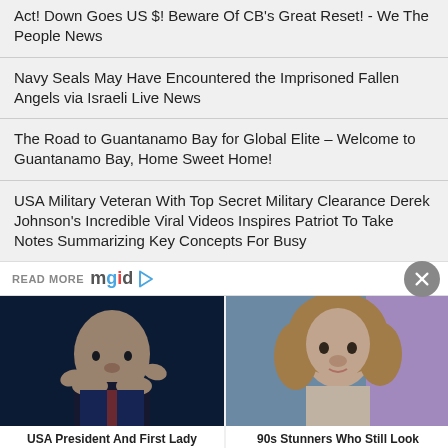Act! Down Goes US $! Beware Of CB's Great Reset! - We The People News
Navy Seals May Have Encountered the Imprisoned Fallen Angels via Israeli Live News
The Road to Guantanamo Bay for Global Elite – Welcome to Guantanamo Bay, Home Sweet Home!
USA Military Veteran With Top Secret Military Clearance Derek Johnson's Incredible Viral Videos Inspires Patriot To Take Notes Summarizing Key Concepts For Busy
READ MORE mgid ▷
[Figure (photo): Photo of a man in a dark suit gesturing with hands raised, appearing to be speaking at a debate podium against a dark background]
USA President And First Lady Test Positive For Covid-19
[Figure (photo): Photo of a woman with voluminous curly blonde hair smiling, with a light lavender/purple background, 1990s style portrait]
90s Stunners Who Still Look Gorgeous